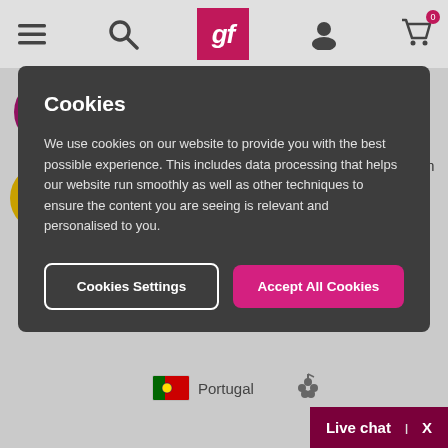gf (website navigation bar with menu, search, logo, user, cart icons)
Cookies
We use cookies on our website to provide you with the best possible experience. This includes data processing that helps our website run smoothly as well as other techniques to ensure the content you are seeing is relevant and personalised to you.
Cookies Settings | Accept All Cookies
Aluado Chardonnay 2020
Estremadura VR
Crisp, mineral-fresh, citrusy Chardonnay from top-value Portugal and an excellent winemaker
384 Reviews
Portugal
Live chat  X